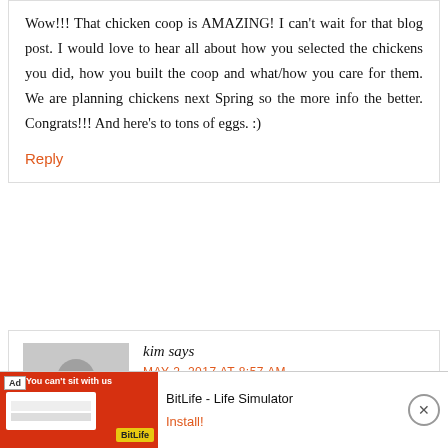Wow!!! That chicken coop is AMAZING! I can't wait for that blog post. I would love to hear all about how you selected the chickens you did, how you built the coop and what/how you care for them. We are planning chickens next Spring so the more info the better. Congrats!!! And here's to tons of eggs. :)
Reply
kim says
MAY 2, 2017 AT 8:57 AM
[Figure (other): Advertisement banner for BitLife - Life Simulator app with red background and install button]